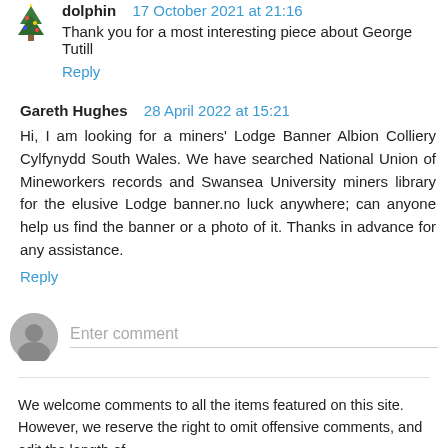dolphin 17 October 2021 at 21:16
Thank you for a most interesting piece about George Tutill
Reply
Gareth Hughes 28 April 2022 at 15:21
Hi, I am looking for a miners' Lodge Banner Albion Colliery Cylfynydd South Wales. We have searched National Union of Mineworkers records and Swansea University miners library for the elusive Lodge banner.no luck anywhere; can anyone help us find the banner or a photo of it. Thanks in advance for any assistance.
Reply
Enter comment
We welcome comments to all the items featured on this site. However, we reserve the right to omit offensive comments, and edit the length of